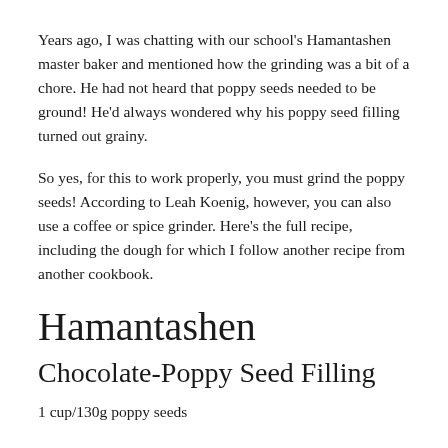Years ago, I was chatting with our school's Hamantashen master baker and mentioned how the grinding was a bit of a chore. He had not heard that poppy seeds needed to be ground! He'd always wondered why his poppy seed filling turned out grainy.
So yes, for this to work properly, you must grind the poppy seeds! According to Leah Koenig, however, you can also use a coffee or spice grinder. Here's the full recipe, including the dough for which I follow another recipe from another cookbook.
Hamantashen
Chocolate-Poppy Seed Filling
1 cup/130g poppy seeds